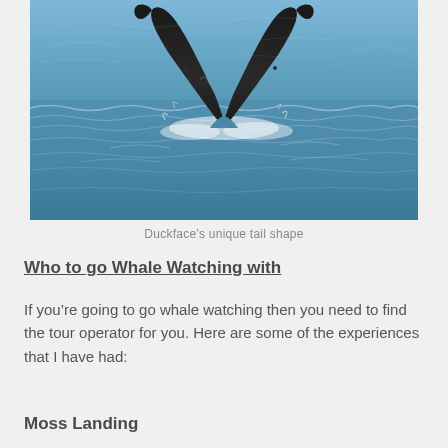[Figure (photo): A humpback whale tail (fluke) rising out of choppy blue ocean water, showing its distinctive shape. The tail is dark/black against a blue-gray wavy sea.]
Duckface’s unique tail shape
Who to go Whale Watching with
If you’re going to go whale watching then you need to find the tour operator for you. Here are some of the experiences that I have had:
Moss Landing